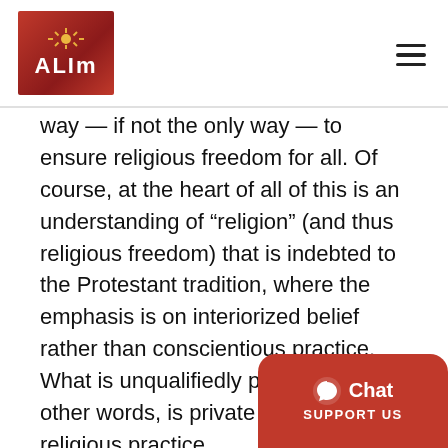ALIM
way — if not the only way — to ensure religious freedom for all. Of course, at the heart of all of this is an understanding of “religion” (and thus religious freedom) that is indebted to the Protestant tradition, where the emphasis is on interiorized belief rather than conscientious practice. What is unqualifiedly protected, in other words, is private belief not religious practice.
Also as with liberalism, American secularism is primarily a political theory, not an overall philosophy of life. In theory, American secularism does not tell anyone what kind of...